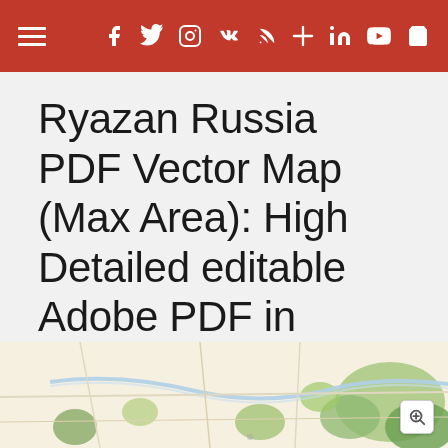Navigation header with hamburger menu and social media icons (Facebook, Twitter, Instagram, VK, RSS, Cross/Plus, LinkedIn, YouTube, Cart)
Ryazan Russia PDF Vector Map (Max Area): High Detailed editable Adobe PDF in layers, + Housenumbers
Home › Europe maps › Россия векторные карты городов Russia cities vector maps
[Figure (map): Partial map preview of Ryazan Russia showing street map with green areas, roads, and a zoom-in control button]